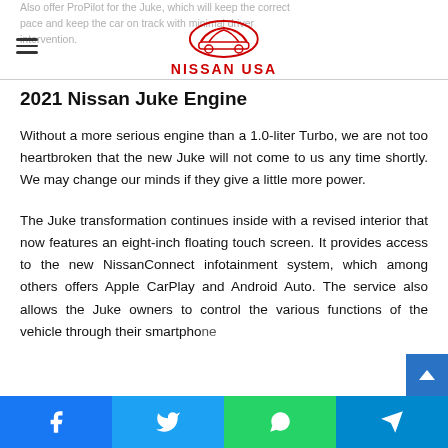NISSAN USA
2021 Nissan Juke Engine
Without a more serious engine than a 1.0-liter Turbo, we are not too heartbroken that the new Juke will not come to us any time shortly. We may change our minds if they give a little more power.
The Juke transformation continues inside with a revised interior that now features an eight-inch floating touch screen. It provides access to the new NissanConnect infotainment system, which among others offers Apple CarPlay and Android Auto. The service also allows the Juke owners to control the various functions of the vehicle through their smartphone